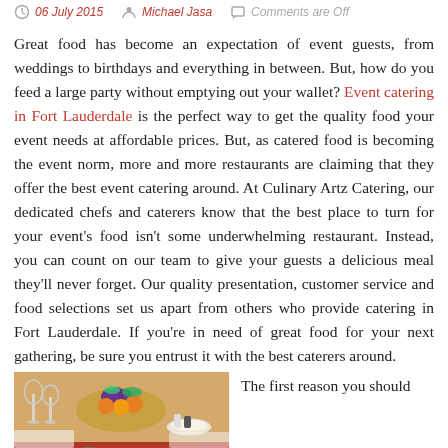06 July 2015  Michael Jasa  Comments are Off
Great food has become an expectation of event guests, from weddings to birthdays and everything in between. But, how do you feed a large party without emptying out your wallet? Event catering in Fort Lauderdale is the perfect way to get the quality food your event needs at affordable prices. But, as catered food is becoming the event norm, more and more restaurants are claiming that they offer the best event catering around. At Culinary Artz Catering, our dedicated chefs and caterers know that the best place to turn for your event's food isn't some underwhelming restaurant. Instead, you can count on our team to give your guests a delicious meal they'll never forget. Our quality presentation, customer service and food selections set us apart from others who provide catering in Fort Lauderdale. If you're in need of great food for your next gathering, be sure you entrust it with the best caterers around.
[Figure (photo): A catered event table with fruits, wine glasses, and food platters arranged on a red tablecloth]
The first reason you should